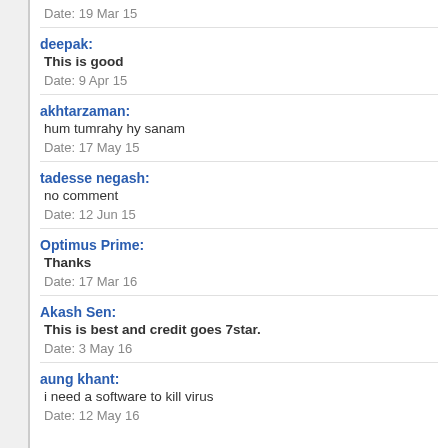Date: 19 Mar 15
deepak:
This is good
Date: 9 Apr 15
akhtarzaman:
hum tumrahy hy sanam
Date: 17 May 15
tadesse negash:
no comment
Date: 12 Jun 15
Optimus Prime:
Thanks
Date: 17 Mar 16
Akash Sen:
This is best and credit goes 7star.
Date: 3 May 16
aung khant:
i need a software to kill virus
Date: 12 May 16